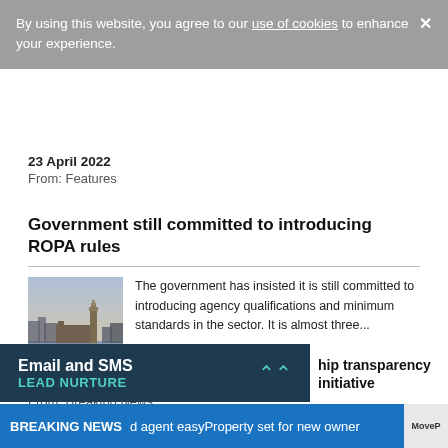By using this website, you agree to our use of cookies to enhance your experience.
23 April 2022
From: Features
Government still committed to introducing ROPA rules
[Figure (photo): Thames riverscape with Houses of Parliament/Big Ben in background, dusk lighting]
The government has insisted it is still committed to introducing agency qualifications and minimum standards in the sector. It is almost three...
19 April 2022
From: Breaking News
Email and SMS
LEAD NURTURE
hip transparency initiative
BREAKING NEWS | agent easyProperty set for new owner | MoveP